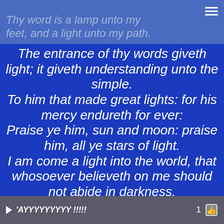Thy word is a lamp unto my feet, and a light unto my path.
The entrance of thy words giveth light; it giveth understanding unto the simple. To him that made great lights: for his mercy endureth for ever: Praise ye him, sun and moon: praise him, all ye stars of light. I am come a light into the world, that whosoever believeth on me should not abide in darkness. John 12:46 And, behold, the angel of the
'AYYYYYYYYY !!!!! 1